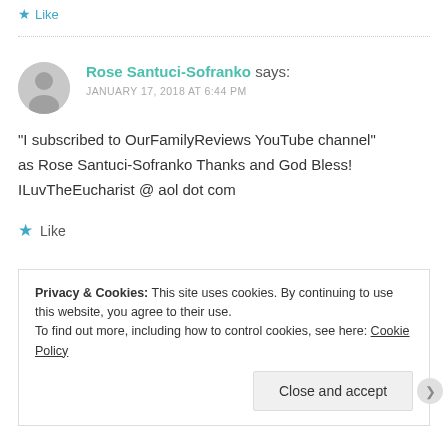Like
Rose Santuci-Sofranko says: JANUARY 17, 2018 AT 6:44 PM
"I subscribed to OurFamilyReviews YouTube channel" as Rose Santuci-Sofranko Thanks and God Bless! ILuvTheEucharist @ aol dot com
Like
Privacy & Cookies: This site uses cookies. By continuing to use this website, you agree to their use.
To find out more, including how to control cookies, see here: Cookie Policy
Close and accept